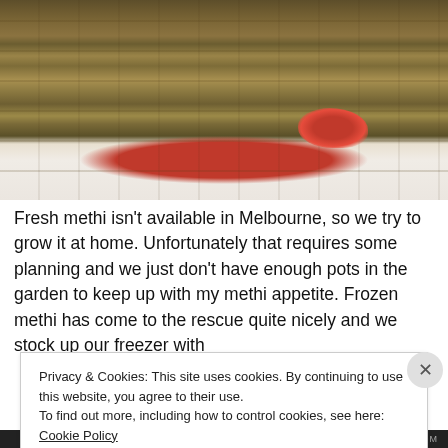[Figure (photo): Stack of methi (fenugreek) flatbreads/theplas piled on a white tiled surface, with a small dollop of red chutney/sauce on the lower right of the plate]
Fresh methi isn't available in Melbourne, so we try to grow it at home. Unfortunately that requires some planning and we just don't have enough pots in the garden to keep up with my methi appetite. Frozen methi has come to the rescue quite nicely and we stock up our freezer with
Privacy & Cookies: This site uses cookies. By continuing to use this website, you agree to their use.
To find out more, including how to control cookies, see here: Cookie Policy
Close and accept